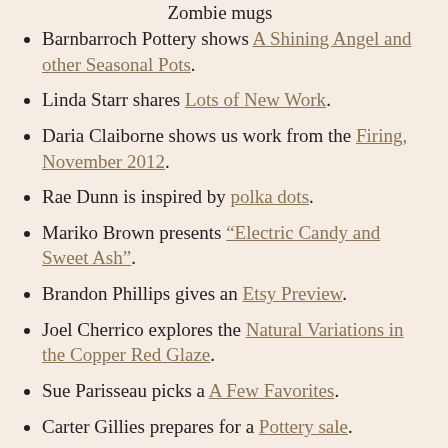Zombie mugs
Barnbarroch Pottery shows A Shining Angel and other Seasonal Pots.
Linda Starr shares Lots of New Work.
Daria Claiborne shows us work from the Firing, November 2012.
Rae Dunn is inspired by polka dots.
Mariko Brown presents “Electric Candy and Sweet Ash”.
Brandon Phillips gives an Etsy Preview.
Joel Cherrico explores the Natural Variations in the Copper Red Glaze.
Sue Parisseau picks a A Few Favorites.
Carter Gillies prepares for a Pottery sale.
Kris Paul shows a pair of tea bowls from a recent